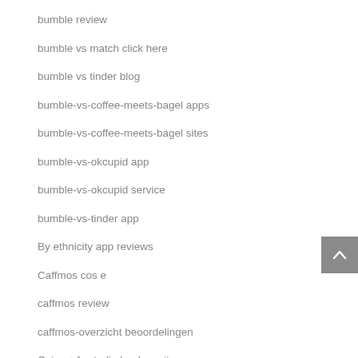bumble review
bumble vs match click here
bumble vs tinder blog
bumble-vs-coffee-meets-bagel apps
bumble-vs-coffee-meets-bagel sites
bumble-vs-okcupid app
bumble-vs-okcupid service
bumble-vs-tinder app
By ethnicity app reviews
Caffmos cos e
caffmos review
caffmos-overzicht beoordelingen
Cairns+Australia hookup sites
california review
California Chico payday loans